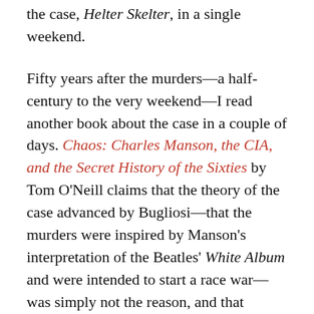the case, Helter Skelter, in a single weekend.
Fifty years after the murders—a half-century to the very weekend—I read another book about the case in a couple of days. Chaos: Charles Manson, the CIA, and the Secret History of the Sixties by Tom O'Neill claims that the theory of the case advanced by Bugliosi—that the murders were inspired by Manson's interpretation of the Beatles' White Album and were intended to start a race war—was simply not the reason, and that Bugliosi hid and/or distorted evidence in his desire to get a conviction that would advance his career. (One of Bugliosi's colleagues, reviewing O'Neill's research, told the author that it would be